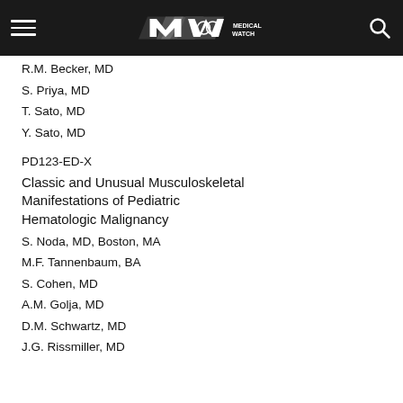Medical Watch
R.M. Becker, MD
S. Priya, MD
T. Sato, MD
Y. Sato, MD
PD123-ED-X
Classic and Unusual Musculoskeletal Manifestations of Pediatric Hematologic Malignancy
S. Noda, MD, Boston, MA
M.F. Tannenbaum, BA
S. Cohen, MD
A.M. Golja, MD
D.M. Schwartz, MD
J.G. Rissmiller, MD